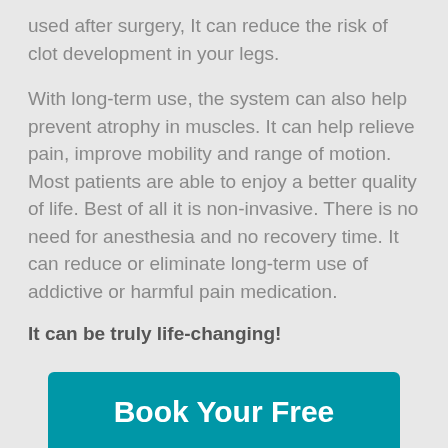used after surgery, It can reduce the risk of clot development in your legs.
With long-term use, the system can also help prevent atrophy in muscles. It can help relieve pain, improve mobility and range of motion. Most patients are able to enjoy a better quality of life. Best of all it is non-invasive. There is no need for anesthesia and no recovery time. It can reduce or eliminate long-term use of addictive or harmful pain medication.
It can be truly life-changing!
Book Your Free